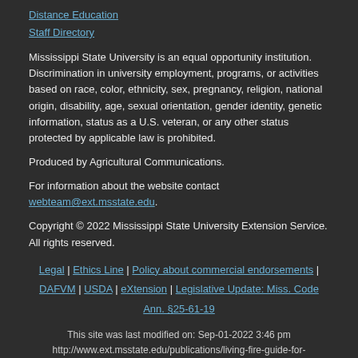Distance Education
Staff Directory
Mississippi State University is an equal opportunity institution. Discrimination in university employment, programs, or activities based on race, color, ethnicity, sex, pregnancy, religion, national origin, disability, age, sexual orientation, gender identity, genetic information, status as a U.S. veteran, or any other status protected by applicable law is prohibited.
Produced by Agricultural Communications.
For information about the website contact webteam@ext.msstate.edu.
Copyright © 2022 Mississippi State University Extension Service. All rights reserved.
Legal | Ethics Line | Policy about commercial endorsements | DAFVM | USDA | eXtension | Legislative Update: Miss. Code Ann. §25-61-19
This site was last modified on: Sep-01-2022 3:46 pm
http://www.ext.msstate.edu/publications/living-fire-guide-for-mississippi-homeowners